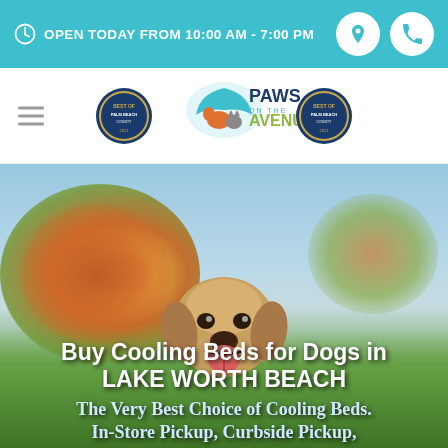OPEN TODAY FROM 10:00 AM - 7:00 PM
[Figure (logo): Paws on the Avenue logo with two award badges flanking a central logo featuring a dog and cat under an umbrella with the text PAWS ON THE AVENUE]
[Figure (photo): A golden retriever dog smiling outdoors with blurred autumn foliage background in orange, red, and green colors with blue sky]
Buy Cooling Beds for Dogs in LAKE WORTH BEACH
The Very Best Choice of Cooling Beds. In-Store Pickup, Curbside Pickup,